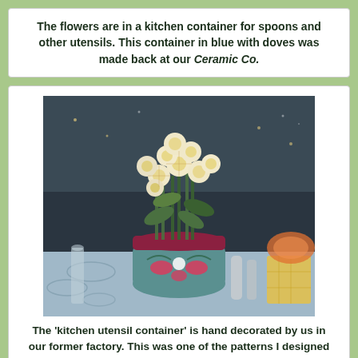The flowers are in a kitchen container for spoons and other utensils. This container in blue with doves was made back at our Ceramic Co.
[Figure (photo): A bouquet of white and yellow alstroemeria flowers arranged in a hand-decorated blue ceramic kitchen utensil container with dove motifs, placed on a table set with glassware and dishes.]
The 'kitchen utensil container' is hand decorated by us in our former factory. This was one of the patterns I designed for a complete set of dishes too.